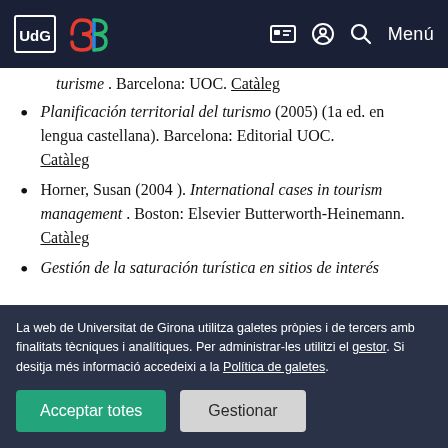UdG [logo] [30 aniversari logo] [icons] Menú
turisme . Barcelona: UOC. Catàleg
Planificación territorial del turismo (2005) (1a ed. en lengua castellana). Barcelona: Editorial UOC. Catàleg
Horner, Susan (2004 ). International cases in tourism management . Boston: Elsevier Butterworth-Heinemann. Catàleg
Gestión de la saturación turística en sitios de interés
La web de Universitat de Girona utilitza galetes pròpies i de tercers amb finalitats tècniques i analítiques. Per administrar-les utilitzi el gestor. Si desitja més informació accedeixi a la Política de galetes.
Acceptar totes | Gestionar